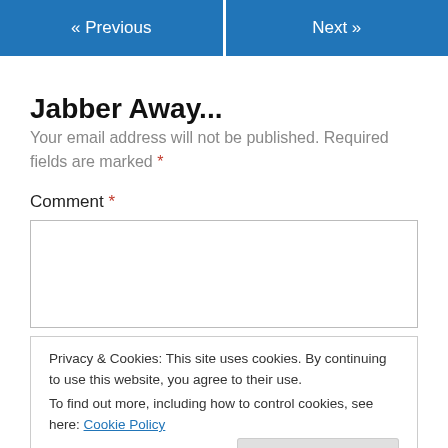« Previous   Next »
Jabber Away...
Your email address will not be published. Required fields are marked *
Comment *
Privacy & Cookies: This site uses cookies. By continuing to use this website, you agree to their use.
To find out more, including how to control cookies, see here: Cookie Policy
Close and accept